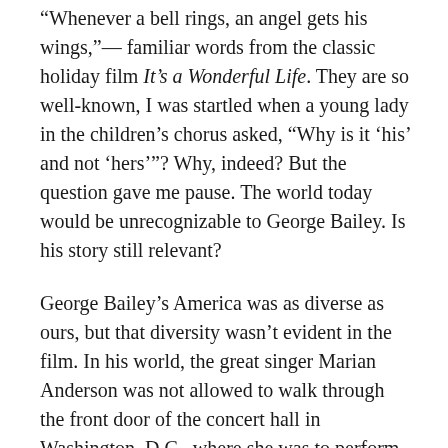“Whenever a bell rings, an angel gets his wings,”— familiar words from the classic holiday film It’s a Wonderful Life. They are so well-known, I was startled when a young lady in the children’s chorus asked, “Why is it ‘his’ and not ‘hers’”? Why, indeed? But the question gave me pause. The world today would be unrecognizable to George Bailey. Is his story still relevant?
George Bailey’s America was as diverse as ours, but that diversity wasn’t evident in the film. In his world, the great singer Marian Anderson was not allowed to walk through the front door of the concert hall in Washington, D.C., where she was to perform, because she was a woman of color. Marginalized and interned American men and women volunteered to fight in a war for